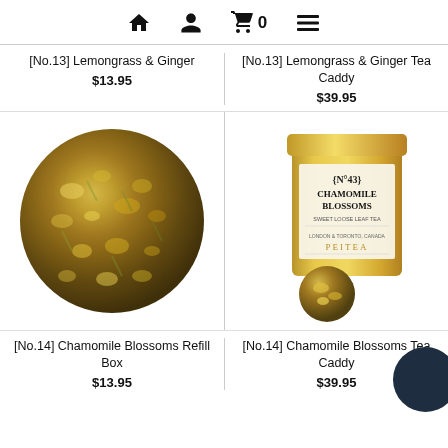Navigation bar with home, account, cart (0), and menu icons
[No.13] Lemongrass & Ginger
$13.95
[No.13] Lemongrass & Ginger Tea Caddy
$39.95
[Figure (photo): Loose leaf chamomile herbal tea blend shown as a circular mound of dried flowers and herbs]
[Figure (photo): Gold tin canister labeled {N°43} Chamomile Blossoms PEITEA Sweet Loose Leaf Tea, with a small ball of dried chamomile in front]
[No.14] Chamomile Blossoms Refill Box
$13.95
[No.14] Chamomile Blossoms Tea Caddy
$39.95